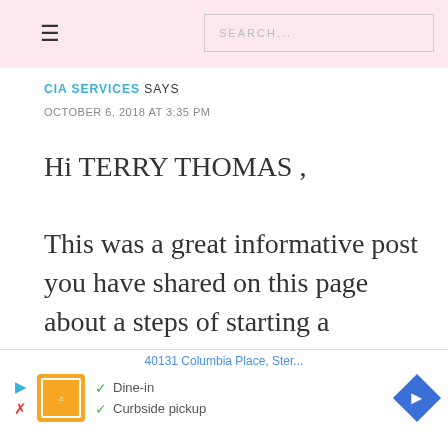☰  SEARCH...
CIA SERVICES SAYS
OCTOBER 6, 2018 AT 3:35 PM
Hi TERRY THOMAS ,

This was a great informative post you have shared on this page about a steps of starting a construction of new building with in a required period of a time by using the new self automated technology provided by a construction company with the
[Figure (screenshot): Advertisement banner showing a restaurant listing with orange logo, dine-in and curbside pickup options, address 40131 Columbia Place, and a blue navigation arrow]